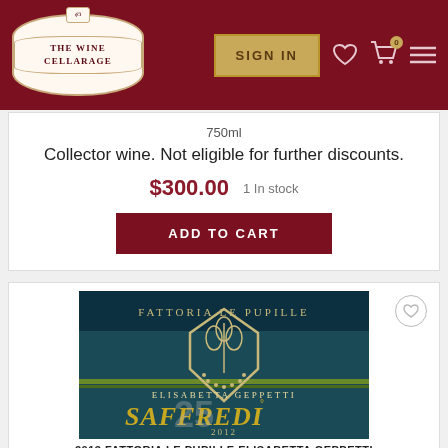[Figure (logo): The Wine Cellarage logo — ornate frame with tag on top]
SIGN IN
750ml
Collector wine. Not eligible for further discounts.
$300.00   1 In stock
ADD TO CART
[Figure (illustration): Fattoria Le Pupille Elisabetta Geppetti Saffredi 2012 wine bottle label — dark teal background with gold shield crest, gold text SAFFREDI with 25 anniversary overlay, Maremma Toscana Indicazione Geografica Tipica]
2013 FATTORIA LE PUPILLE ELISABETTA GEPPETTI